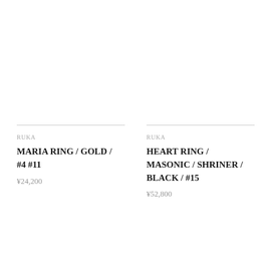RUKA
MARIA RING / GOLD / #4 #11
¥24,200
RUKA
HEART RING / MASONIC / SHRINER / BLACK / #15
¥52,800